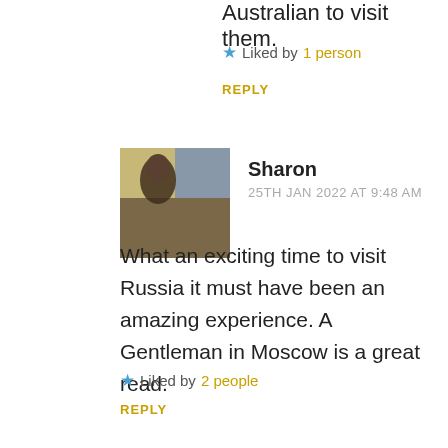Australian to visit them.
★ Liked by 1 person
REPLY
[Figure (photo): Profile avatar photo of Sharon, outdoor scenic background]
Sharon
25TH JAN 2022 AT 9:48 AM
What an exciting time to visit Russia it must have been an amazing experience. A Gentleman in Moscow is a great read.
★ Liked by 2 people
REPLY
[Figure (photo): Profile avatar photo of Deepak Sharma, colorful market background]
Deepak Sharma